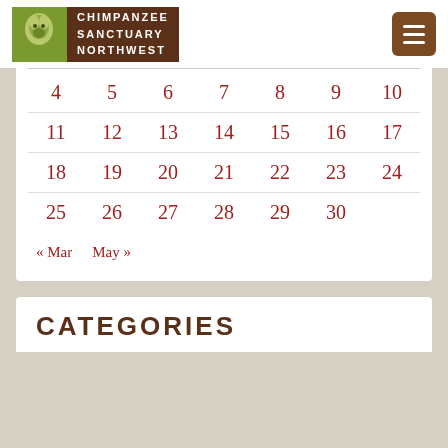Chimpanzee Sanctuary Northwest
| 4 | 5 | 6 | 7 | 8 | 9 | 10 |
| 11 | 12 | 13 | 14 | 15 | 16 | 17 |
| 18 | 19 | 20 | 21 | 22 | 23 | 24 |
| 25 | 26 | 27 | 28 | 29 | 30 |  |
« Mar   May »
CATEGORIES